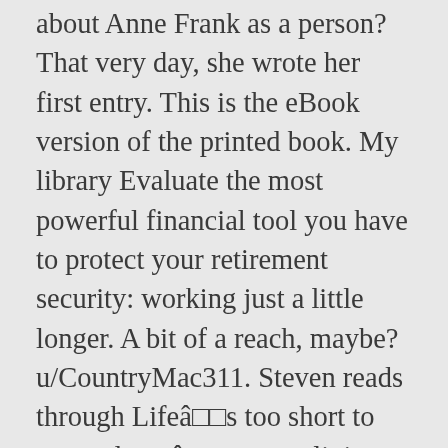about Anne Frank as a person? That very day, she wrote her first entry. This is the eBook version of the printed book. My library Evaluate the most powerful financial tool you have to protect your retirement security: working just a little longer. A bit of a reach, maybe? u/CountryMac311. Steven reads through Lifeâs too short to pretend youâre not religious by David Dark. Being Frank Critics Consensus. Name Last modified Size; Go to parent directory: She borrows from all that has come before, and her book stands on many shoulders. Brown. Aloud, it's a marathon. Maybe Not This Election" is from the October 22, 2016 Business section of The New York Times. Recent Book Added. The